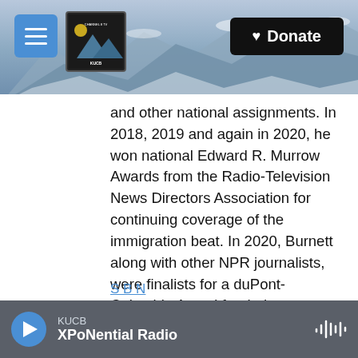[Figure (screenshot): KUCB Channel 8 TV logo in dark box, menu hamburger button in blue, and Donate button with heart icon on mountain/snow background header]
and other national assignments. In 2018, 2019 and again in 2020, he won national Edward R. Murrow Awards from the Radio-Television News Directors Association for continuing coverage of the immigration beat. In 2020, Burnett along with other NPR journalists, were finalists for a duPont-Columbia Award for their coverage of the Trump Administration's Remain in Mexico program. In December 2018, Burnett was invited to participate in a workshop on Refugees, Immigration and Border Security in Western Europe, sponsored by the RIAS Berlin Commission.
KUCB
XPoNential Radio